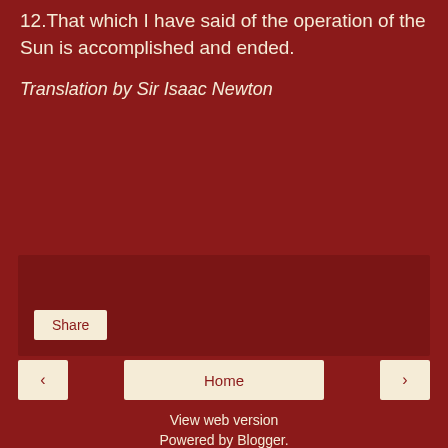12.That which I have said of the operation of the Sun is accomplished and ended.
Translation by Sir Isaac Newton
Share
‹  Home  ›
View web version
Powered by Blogger.